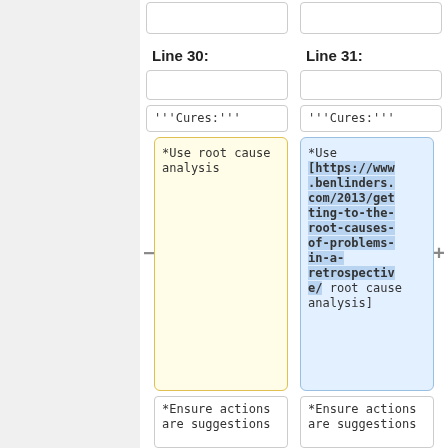Line 30:
Line 31:
'''Cures:'''
'''Cures:'''
*Use root cause analysis
*Use [https://www.benlinders.com/2013/getting-to-the-root-causes-of-problems-in-a-retrospective/ root cause analysis]
*Ensure actions are suggestions
*Ensure actions are suggestions